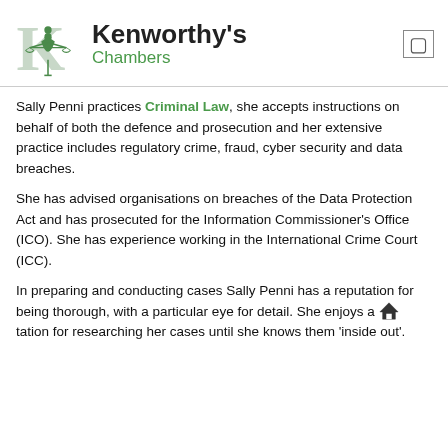Kenworthy's Chambers
Sally Penni practices Criminal Law, she accepts instructions on behalf of both the defence and prosecution and her extensive practice includes regulatory crime, fraud, cyber security and data breaches.
She has advised organisations on breaches of the Data Protection Act and has prosecuted for the Information Commissioner's Office (ICO). She has experience working in the International Crime Court (ICC).
In preparing and conducting cases Sally Penni has a reputation for being thorough, with a particular eye for detail. She enjoys a reputation for researching her cases until she knows them 'inside out'.